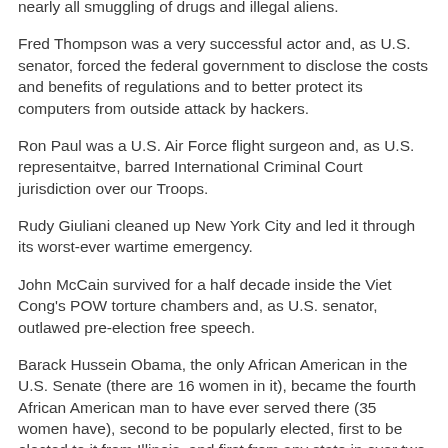nearly all smuggling of drugs and illegal aliens.
Fred Thompson was a very successful actor and, as U.S. senator, forced the federal government to disclose the costs and benefits of regulations and to better protect its computers from outside attack by hackers.
Ron Paul was a U.S. Air Force flight surgeon and, as U.S. representaitve, barred International Criminal Court jurisdiction over our Troops.
Rudy Giuliani cleaned up New York City and led it through its worst-ever wartime emergency.
John McCain survived for a half decade inside the Viet Cong's POW torture chambers and, as U.S. senator, outlawed pre-election free speech.
Barack Hussein Obama, the only African American in the U.S. Senate (there are 16 women in it), became the fourth African American man to have ever served there (35 women have), second to be popularly elected, first to be elected to it from Illinois, and first from any state in over two decades, and was the first African American president of the Harvard